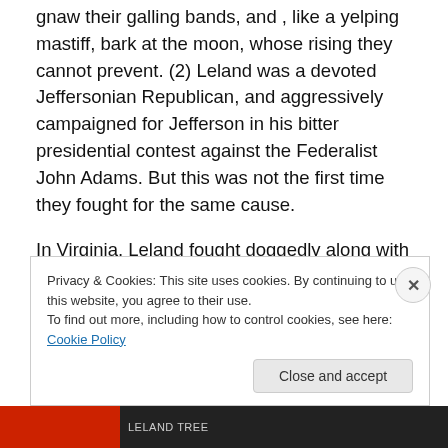gnaw their galling bands, and , like a yelping mastiff, bark at the moon, whose rising they cannot prevent. (2) Leland was a devoted Jeffersonian Republican, and aggressively campaigned for Jefferson in his bitter presidential contest against the Federalist John Adams. But this was not the first time they fought for the same cause.
In Virginia, Leland fought doggedly along with Jefferson and Madison to disestablish religion; Jefferson and Madison as representatives in the Virginia legislature, and Leland as a respected leader in the dissenting community.
Privacy & Cookies: This site uses cookies. By continuing to use this website, you agree to their use.
To find out more, including how to control cookies, see here: Cookie Policy
Close and accept